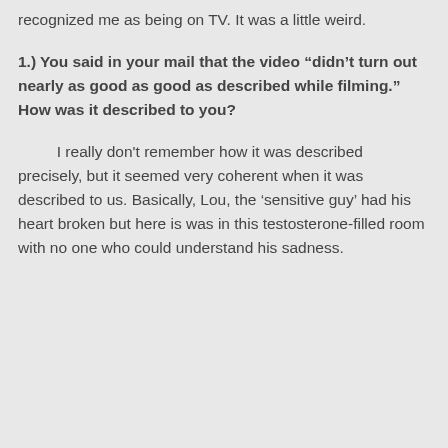recognized me as being on TV. It was a little weird.
1.) You said in your mail that the video “didn’t turn out nearly as good as good as described while filming.” How was it described to you?
I really don't remember how it was described precisely, but it seemed very coherent when it was described to us. Basically, Lou, the ‘sensitive guy’ had his heart broken but here is was in this testosterone-filled room with no one who could understand his sadness.